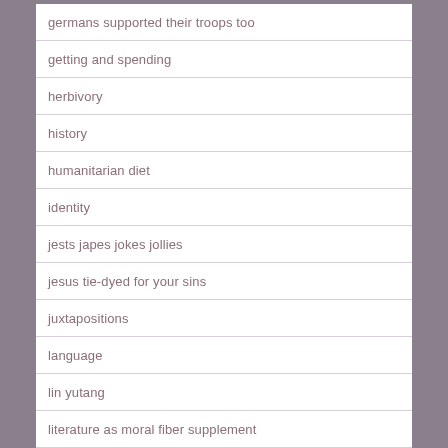germans supported their troops too
getting and spending
herbivory
history
humanitarian diet
identity
jests japes jokes jollies
jesus tie-dyed for your sins
juxtapositions
language
lin yutang
literature as moral fiber supplement
lucubrations
macho macho men